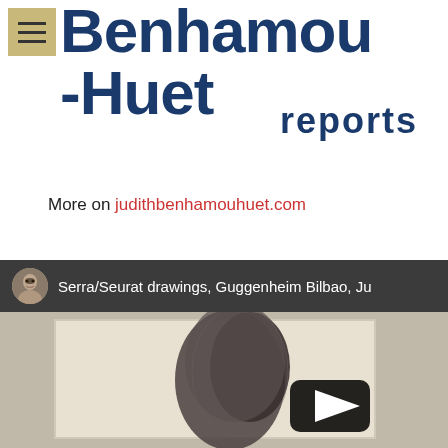Benhamou-Huet reports
More on judithbenhamouhuet.com
[Figure (screenshot): YouTube video thumbnail showing Serra/Seurat drawings exhibition at Guggenheim Bilbao, with a dark artwork resembling an organic shape on a light background, and a play button overlay. The video title bar shows a circular avatar portrait and the text 'Serra/Seurat drawings, Guggenheim Bilbao, Ju'.]